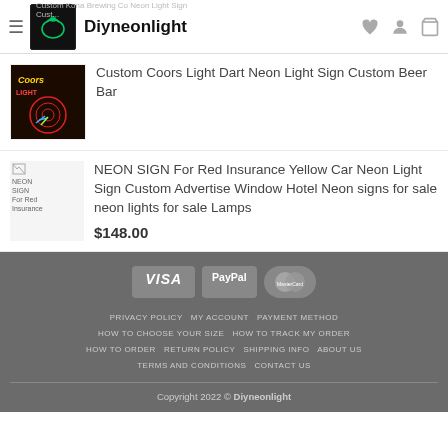Custom Kona Brewing Co Neon Light Sign | Diyneonlight
Custom Coors Light Dart Neon Light Sign Custom Beer Bar
NEON SIGN For Red Insurance Yellow Car Neon Light Sign Custom Advertise Window Hotel Neon signs for sale neon lights for sale Lamps
$148.00
VISA PayPal MasterCard
PRIVACY POLICY MY ACCOUNT PAYMENT METHOD
HOW TO CHOOSE YOUR SIZE HOW TO TRACK MY ORDER
HOW TO ORDER RETURN POLICY SHIPPING INFO ABOUT US
TERMS AND CONDITIONS CONTACT US
Copyright 2022 © Diyneonlight